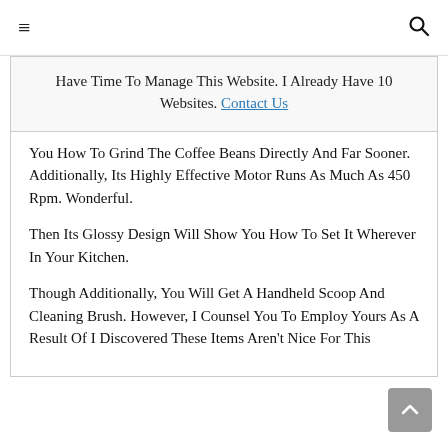≡  🔍
Have Time To Manage This Website. I Already Have 10 Websites. Contact Us
You How To Grind The Coffee Beans Directly And Far Sooner. Additionally, Its Highly Effective Motor Runs As Much As 450 Rpm. Wonderful.
Then Its Glossy Design Will Show You How To Set It Wherever In Your Kitchen.
Though Additionally, You Will Get A Handheld Scoop And Cleaning Brush. However, I Counsel You To Employ Yours As A Result Of I Discovered These Items Aren't Nice For This